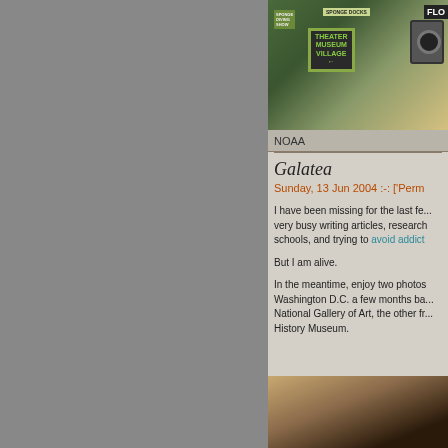[Figure (photo): Photo of Sponge Docks signs including Theater Museum Village sign, with a camera visible on the right]
NOAA
Galatea
Sunday, 13 Jun 2004 :-: ['Perm
I have been missing for the last fe... very busy writing articles, research schools, and trying to avoid addict
But I am alive.
In the meantime, enjoy two photos Washington D.C. a few months ba... National Gallery of Art, the other fr... History Museum.
[Figure (photo): Partial photo from Washington D.C., appears to show artwork or exhibit]